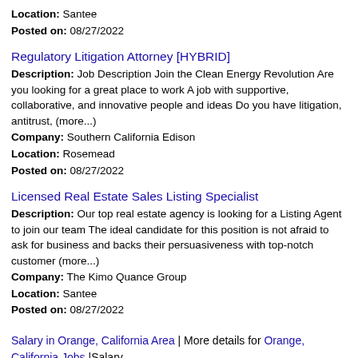Location: Santee
Posted on: 08/27/2022
Regulatory Litigation Attorney [HYBRID]
Description: Job Description Join the Clean Energy Revolution Are you looking for a great place to work A job with supportive, collaborative, and innovative people and ideas Do you have litigation, antitrust, (more...)
Company: Southern California Edison
Location: Rosemead
Posted on: 08/27/2022
Licensed Real Estate Sales Listing Specialist
Description: Our top real estate agency is looking for a Listing Agent to join our team The ideal candidate for this position is not afraid to ask for business and backs their persuasiveness with top-notch customer (more...)
Company: The Kimo Quance Group
Location: Santee
Posted on: 08/27/2022
Salary in Orange, California Area | More details for Orange, California Jobs |Salary